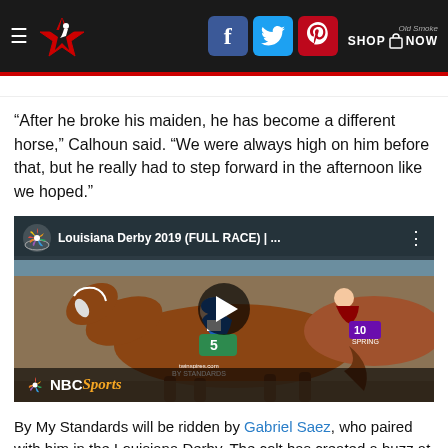Navigation bar with hamburger menu, logo, Facebook/Twitter/Pinterest social buttons, and Old Smoke SHOP NOW link
“After he broke his maiden, he has become a different horse,” Calhoun said. “We were always high on him before that, but he really had to step forward in the afternoon like we hoped.”
[Figure (screenshot): Embedded NBC Sports YouTube video thumbnail showing Louisiana Derby 2019 (FULL RACE) with a horse race photo of By My Standards ridden by a jockey in blue and white silks, with a play button overlay and NBC Sports logo at the bottom]
By My Standards will be ridden by Gabriel Saez, who paired with him in the Louisiana Derby. The colt has created a buzz at